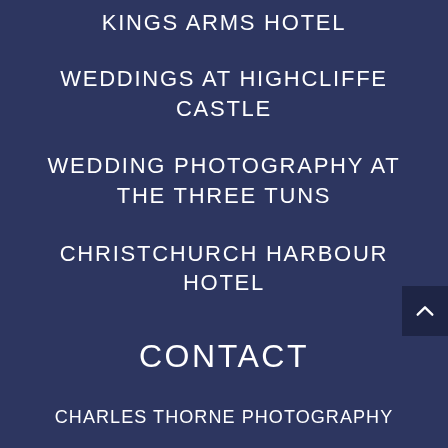KINGS ARMS HOTEL
WEDDINGS AT HIGHCLIFFE CASTLE
WEDDING PHOTOGRAPHY AT THE THREE TUNS
CHRISTCHURCH HARBOUR HOTEL
CONTACT
CHARLES THORNE PHOTOGRAPHY